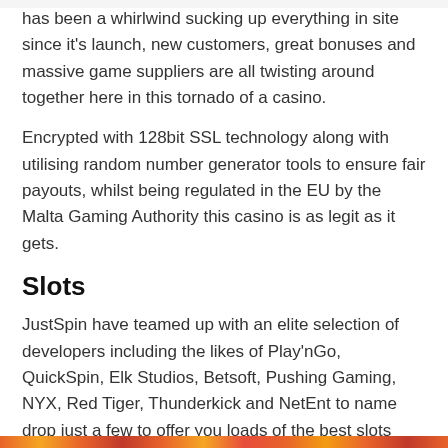has been a whirlwind sucking up everything in site since it's launch, new customers, great bonuses and massive game suppliers are all twisting around together here in this tornado of a casino.
Encrypted with 128bit SSL technology along with utilising random number generator tools to ensure fair payouts, whilst being regulated in the EU by the Malta Gaming Authority this casino is as legit as it gets.
Slots
JustSpin have teamed up with an elite selection of developers including the likes of Play'nGo, QuickSpin, Elk Studios, Betsoft, Pushing Gaming, NYX, Red Tiger, Thunderkick and NetEnt to name drop just a few to offer you loads of the best slots around.
Jump into games such as Crystal Burst XXL, Book of Gold, Fire Joker, Solar Queen, Take the Bank, Hooked and loads of others now at JustSpin.